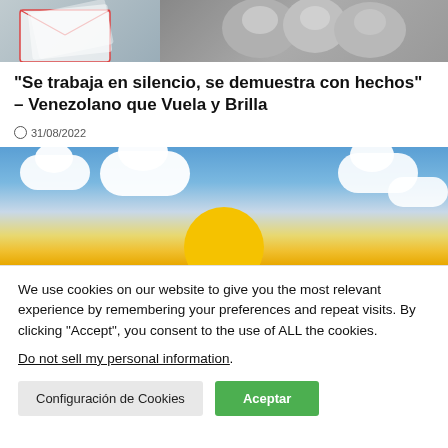[Figure (photo): Top cropped image showing envelopes on left and people smiling on right, grayscale/muted tones]
“Se trabaja en silencio, se demuestra con hechos” – Venezolano que Vuela y Brilla
31/08/2022
[Figure (photo): Sky with white clouds and top of a yellow sun emerging from bottom center]
We use cookies on our website to give you the most relevant experience by remembering your preferences and repeat visits. By clicking “Accept”, you consent to the use of ALL the cookies.
Do not sell my personal information.
Configuración de Cookies
Aceptar